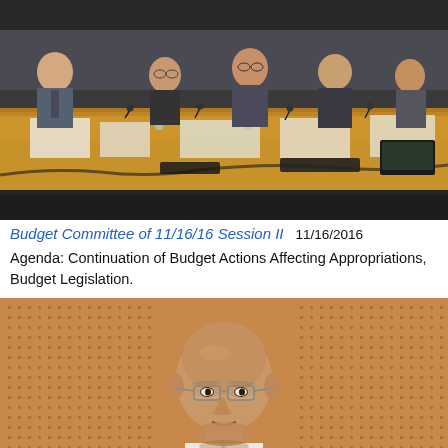[Figure (photo): Budget committee session photo showing multiple officials seated at a large conference table with microphones, papers, and water bottles. A man speaks at the left while others listen.]
Budget Committee of 11/16/16 Session II  11/16/2016
Agenda: Continuation of Budget Actions Affecting Appropriations, Budget Legislation.
[Figure (photo): Close-up photo of a bald man with glasses seated at a hearing table, with a perforated acoustic panel background.]